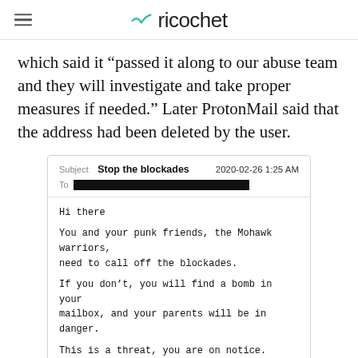ricochet
which said it “passed it along to our abuse team and they will investigate and take proper measures if needed.” Later ProtonMail said that the address had been deleted by the user.
[Figure (screenshot): Screenshot of a threatening email. Subject: Stop the blockades, Date: 2020-02-26 1:25 AM, To: [redacted]. Body: Hi there

You and your punk friends, the Mohawk warriors, need to call off the blockades.

If you don't, you will find a bomb in your mailbox, and your parents will be in danger.

This is a threat, you are on notice.]
Email threat sent on Feb. 26, 2020, to addresses associated with the